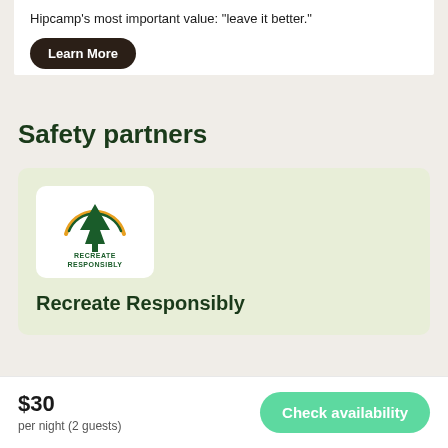Hipcamp's most important value: "leave it better."
Learn More
Safety partners
[Figure (logo): Recreate Responsibly logo — a dark green arch with a pine tree and orange/yellow arcs, text 'RECREATE RESPONSIBLY' below]
Recreate Responsibly
$30
per night (2 guests)
Check availability